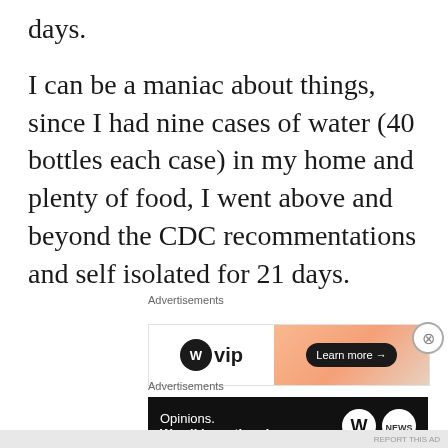days.
I can be a maniac about things, since I had nine cases of water (40 bottles each case) in my home and plenty of food, I went above and beyond the CDC recommentations and self isolated for 21 days.
Advertisements
[Figure (screenshot): WordPress VIP advertisement banner with gradient peach/orange background and Learn more button]
Advertisements
[Figure (screenshot): Dark advertisement banner: Opinions. We all have them! with WordPress and another logo]